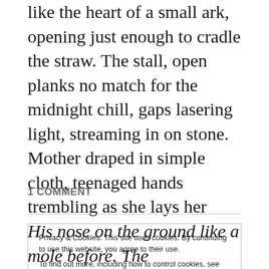like the heart of a small ark, opening just enough to cradle the straw. The stall, open planks no match for the midnight chill, gaps lasering light, streaming in on stone. Mother draped in simple cloth, teenaged hands trembling as she lays her infant in the place of the animals' … Continue reading
1 COMMENT
Privacy & Cookies: This site uses cookies. By continuing to use this website, you agree to their use. To find out more, including how to control cookies, see here: Cookie Policy
Close and accept
His nose on the ground like a mole before. The